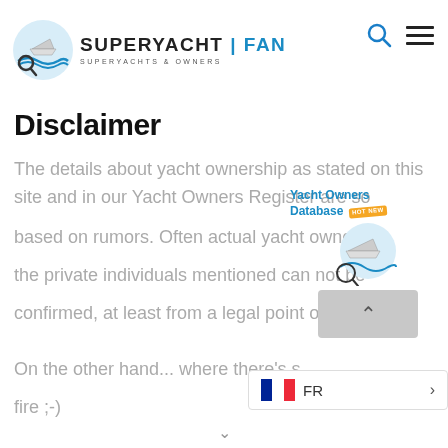[Figure (logo): SuperyachtFan logo with magnifying glass over yacht and waves, text SUPERYACHT|FAN SUPERYACHTS & OWNERS]
Disclaimer
The details about yacht ownership as stated on this site and in our Yacht Owners Register are so... based on rumors. Often actual yacht owners... the private individuals mentioned can not be confirmed, at least from a legal point of view.
[Figure (screenshot): Yacht Owners Database promotional banner with logo and scroll-up button]
On the other hand... where there's s... fire ;-)
[Figure (infographic): French flag language selector showing FR with arrow]